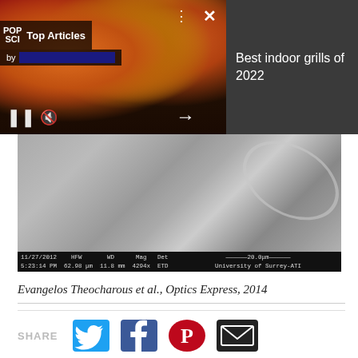[Figure (screenshot): PopSci Top Articles overlay banner with food/skewer image and media controls, with 'Best indoor grills of 2022' text on right dark panel]
[Figure (photo): Scanning electron microscope (SEM) image showing microscale surface texture, with metadata bar: 11/27/2012, 5:23:14 PM, HFW 62.98 μm, WD 11.8 mm, Mag 4294x, Det ETD, scale bar 20.0μm, University of Surrey-ATI]
Evangelos Theocharous et al., Optics Express, 2014
[Figure (infographic): SHARE buttons row with Twitter (blue bird), Facebook (blue f), Pinterest (red P), and Email (black envelope) icons]